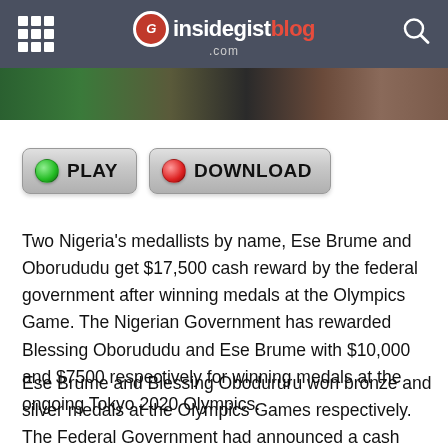insidegistblog.com
[Figure (photo): Partial photo strip showing green and dark tones at the top of article]
[Figure (other): PLAY and DOWNLOAD media buttons with green and red circle indicators]
Two Nigeria’s medallists by name, Ese Brume and Oborududu get $17,500 cash reward by the federal government after winning medals at the Olympics Game. The Nigerian Government has rewarded Blessing Oborududu and Ese Brume with $10,000 and $7500 respectively for winning medals at the ongoing Tokyo 2020 Olympics.
Ese Brume and Blessing Obodururu won bronze and silver medals at the Olympics Games respectively. The Federal Government had announced a cash reward worth 15,000